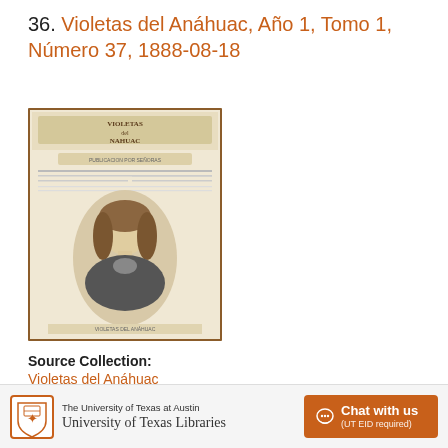36. Violetas del Anáhuac, Año 1, Tomo 1, Número 37, 1888-08-18
[Figure (photo): Thumbnail cover image of Violetas del Anáhuac journal showing ornate header text and a portrait illustration of a woman with long dark hair]
Source Collection:
Violetas del Anáhuac
Creator / Contributor:
Wright de Kleinhans, Laureana, 1846-1896 (author),
The University of Texas at Austin University of Texas Libraries  Chat with us (UT EID required)